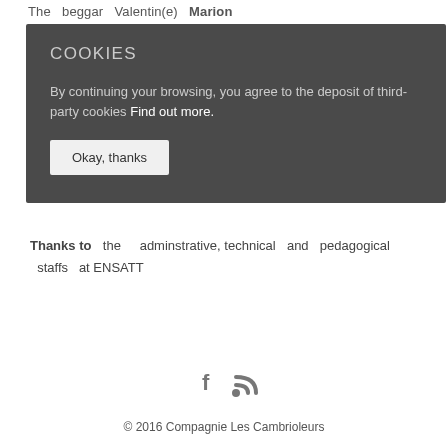The beggar Valentin(e) Marion
COOKIES

By continuing your browsing, you agree to the deposit of third-party cookies Find out more.

[Okay, thanks]
Thanks to the adminstrative, technical and pedagogical staffs at ENSATT
[Figure (other): Social media icons: Facebook (f) and RSS feed]
© 2016 Compagnie Les Cambrioleurs